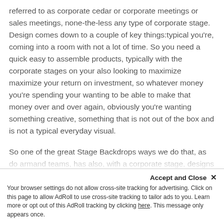referred to as corporate cedar or corporate meetings or sales meetings, none-the-less any type of corporate stage. Design comes down to a couple of key things:typical you're, coming into a room with not a lot of time. So you need a quick easy to assemble products, typically with the corporate stages on your also looking to maximize maximize your return on investment, so whatever money you're spending your wanting to be able to make that money over and over again, obviously you're wanting something creative, something that is not out of the box and is not a typical everyday visual.
So one of the great Stage Backdrops ways we do that, as do armand teams, has also, with a corporate stage, designs you're wanting to your wine to have
Accept and Close ✕
Your browser settings do not allow cross-site tracking for advertising. Click on this page to allow AdRoll to use cross-site tracking to tailor ads to you. Learn more or opt out of this AdRoll tracking by clicking here. This message only appears once.